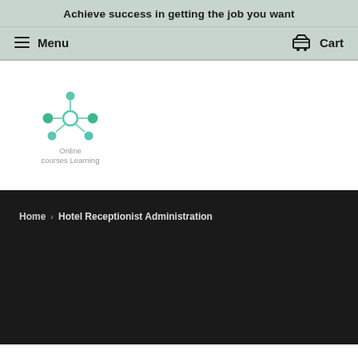Achieve success in getting the job you want
Menu
Cart
[Figure (logo): Online courses Learning logo — molecular network icon with teal/green connected nodes, with text 'Online courses Learning' below]
Home › Hotel Receptionist Administration